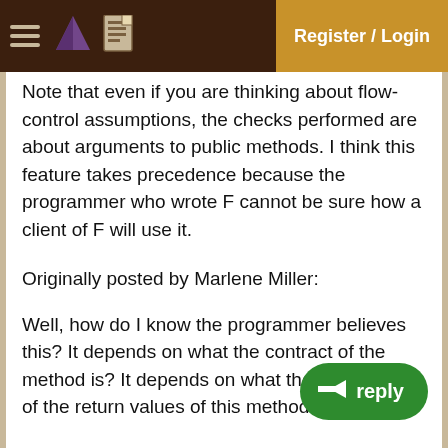Register / Login
Note that even if you are thinking about flow-control assumptions, the checks performed are about arguments to public methods. I think this feature takes precedence because the programmer who wrote F cannot be sure how a client of F will use it.
Originally posted by Marlene Miller:
Well, how do I know the programmer believes this? It depends on what the contract of the method is? It depends on what the specification of the return values of this method is?
Originally posted by Jim Yingst:
Without something like these alternatives, I'm not sure it's productive to worry much about preserving the original programmer's intent here; it was anyway.